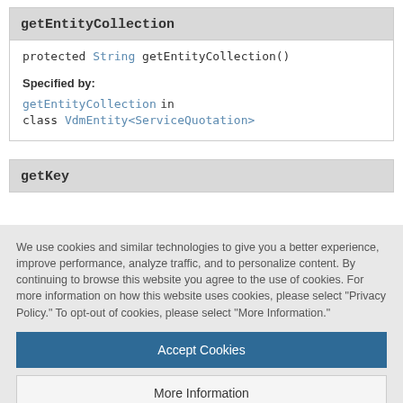getEntityCollection
protected String getEntityCollection()
Specified by:
getEntityCollection in class VdmEntity<ServiceQuotation>
getKey
We use cookies and similar technologies to give you a better experience, improve performance, analyze traffic, and to personalize content. By continuing to browse this website you agree to the use of cookies. For more information on how this website uses cookies, please select "Privacy Policy." To opt-out of cookies, please select "More Information."
Accept Cookies
More Information
Privacy Policy | Powered by: TrustArc